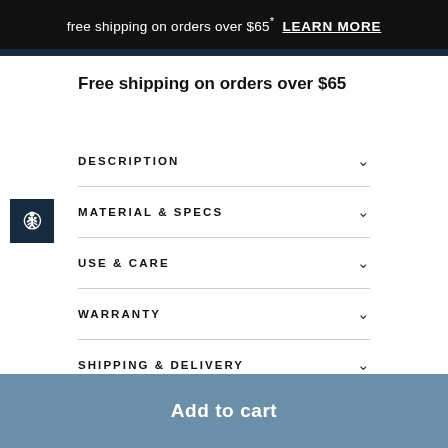free shipping on orders over $65* LEARN MORE
Free shipping on orders over $65
DESCRIPTION
MATERIAL & SPECS
USE & CARE
WARRANTY
SHIPPING & DELIVERY
Add to cart